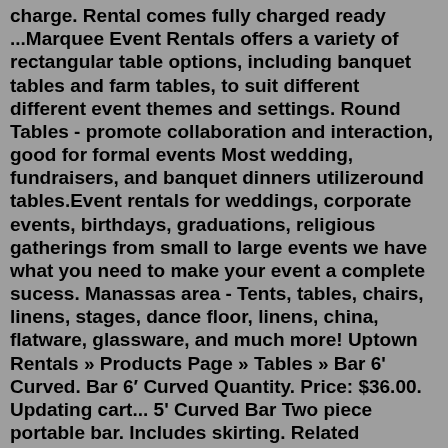charge. Rental comes fully charged ready ...Marquee Event Rentals offers a variety of rectangular table options, including banquet tables and farm tables, to suit different different event themes and settings. Round Tables - promote collaboration and interaction, good for formal events Most wedding, fundraisers, and banquet dinners utilizeround tables.Event rentals for weddings, corporate events, birthdays, graduations, religious gatherings from small to large events we have what you need to make your event a complete sucess. Manassas area - Tents, tables, chairs, linens, stages, dance floor, linens, china, flatware, glassware, and much more! Uptown Rentals » Products Page » Tables » Bar 6' Curved. Bar 6′ Curved Quantity. Price: $36.00. Updating cart... 5' Curved Bar Two piece portable bar. Includes skirting. Related Products. Table, Round 48″ Price: $7.25. Table, Child's 36″ ... ©2019 Uptown Wedding and Event RentalsTeq tables to be distributed to universities to engage with future stars! 2022 European Teqball Tour - Lisbon event was a hit! Mar